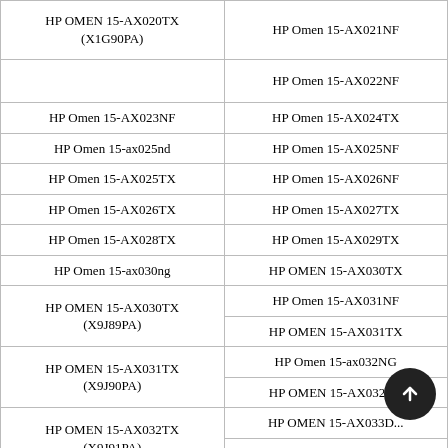| HP OMEN 15-AX020TX (X1G90PA) | HP Omen 15-AX021NF
HP Omen 15-AX022NF |
| HP Omen 15-AX023NF | HP Omen 15-AX024TX |
| HP Omen 15-ax025nd | HP Omen 15-AX025NF |
| HP Omen 15-AX025TX | HP Omen 15-AX026NF |
| HP Omen 15-AX026TX | HP Omen 15-AX027TX |
| HP Omen 15-AX028TX | HP Omen 15-AX029TX |
| HP Omen 15-ax030ng | HP OMEN 15-AX030TX |
| HP OMEN 15-AX030TX (X9J89PA) | HP Omen 15-AX031NF
HP OMEN 15-AX031TX |
| HP OMEN 15-AX031TX (X9J90PA) | HP Omen 15-ax032NG
HP OMEN 15-AX032TX |
| HP OMEN 15-AX032TX (X9J91PA) | HP OMEN 15-AX033D...
HP Omen 15-AX033NF |
| HP OMEN 15-AX033TX | HP OMEN 15-AX033TX |